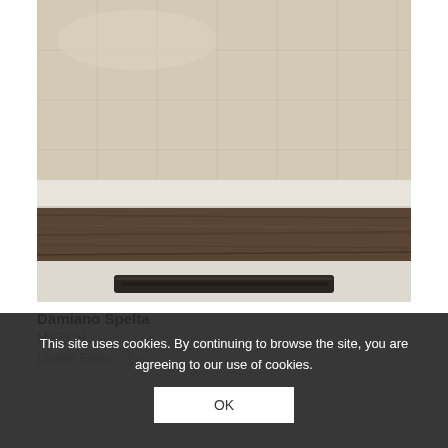[Figure (photo): Close-up photograph of a beige/cream luxury rug with subtle grid texture pattern, showing the edge with a dark brown wooden plank border and a dark fuzzy accent bar near the bottom]
Damiano Spelta
MATCH
Limited Edition - Rug
This site uses cookies. By continuing to browse the site, you are agreeing to our use of cookies.
OK